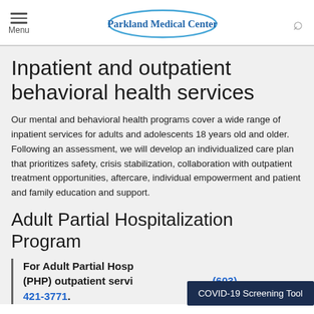Menu | Parkland Medical Center
Inpatient and outpatient behavioral health services
Our mental and behavioral health programs cover a wide range of inpatient services for adults and adolescents 18 years old and older. Following an assessment, we will develop an individualized care plan that prioritizes safety, crisis stabilization, collaboration with outpatient treatment opportunities, aftercare, individual empowerment and patient and family education and support.
Adult Partial Hospitalization Program
For Adult Partial Hospitalization Program (PHP) outpatient services, please call (603) 421-3771.
[Figure (screenshot): COVID-19 Screening Tool dark navy button overlay]